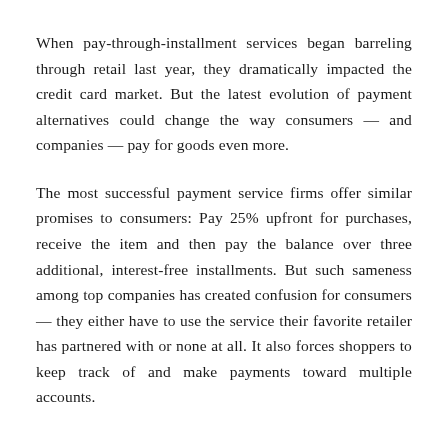When pay-through-installment services began barreling through retail last year, they dramatically impacted the credit card market. But the latest evolution of payment alternatives could change the way consumers — and companies — pay for goods even more.
The most successful payment service firms offer similar promises to consumers: Pay 25% upfront for purchases, receive the item and then pay the balance over three additional, interest-free installments. But such sameness among top companies has created confusion for consumers — they either have to use the service their favorite retailer has partnered with or none at all. It also forces shoppers to keep track of and make payments toward multiple accounts.